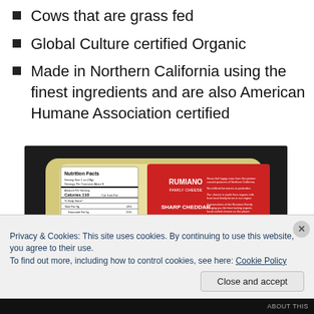Cows that are grass fed
Global Culture certified Organic
Made in Northern California using the finest ingredients and are also American Humane Association certified
[Figure (photo): Photo of a block of Rumiano Sharp Cheddar cheese showing the nutrition facts label and red product label with ingredients listing.]
Privacy & Cookies: This site uses cookies. By continuing to use this website, you agree to their use.
To find out more, including how to control cookies, see here: Cookie Policy
ABOUT THIS